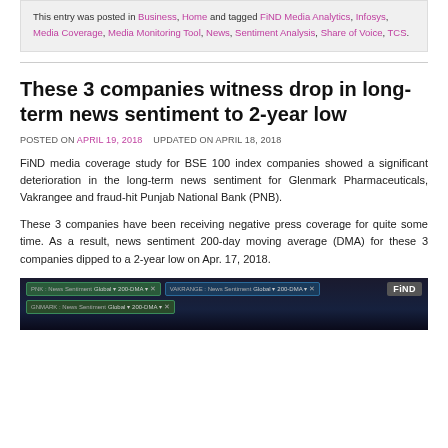This entry was posted in Business, Home and tagged FiND Media Analytics, Infosys, Media Coverage, Media Monitoring Tool, News, Sentiment Analysis, Share of Voice, TCS.
These 3 companies witness drop in long-term news sentiment to 2-year low
POSTED ON APRIL 19, 2018   UPDATED ON APRIL 18, 2018
FiND media coverage study for BSE 100 index companies showed a significant deterioration in the long-term news sentiment for Glenmark Pharmaceuticals, Vakrangee and fraud-hit Punjab National Bank (PNB).
These 3 companies have been receiving negative press coverage for quite some time. As a result, news sentiment 200-day moving average (DMA) for these 3 companies dipped to a 2-year low on Apr. 17, 2018.
[Figure (screenshot): Screenshot of FiND media analytics tool showing multiple news sentiment chips for PNB, VAKRANGEE, and GNMARK with Global and 200-DMA filters, with FiND logo in top right corner.]